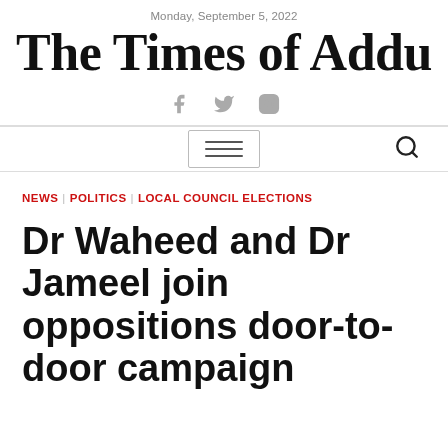Monday, September 5, 2022
The Times of Addu
[Figure (other): Social media icons: Facebook, Twitter, Instagram]
[Figure (other): Navigation bar with hamburger menu button and search icon]
NEWS | POLITICS | LOCAL COUNCIL ELECTIONS
Dr Waheed and Dr Jameel join oppositions door-to-door campaign